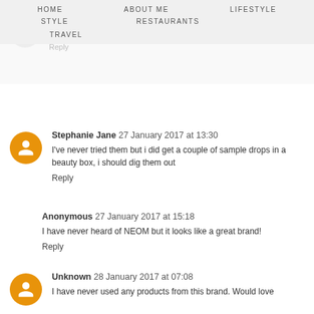HOME   ABOUT ME   LIFESTYLE   STYLE   RESTAURANTS   TRAVEL
Healthy & Psyched 27 January 2017 at 02:09
I love functional products. That perfume sounds great.
Reply
Stephanie Jane 27 January 2017 at 13:30
I've never tried them but i did get a couple of sample drops in a beauty box, i should dig them out
Reply
Anonymous 27 January 2017 at 15:18
I have never heard of NEOM but it looks like a great brand!
Reply
Unknown 28 January 2017 at 07:08
I have never used any products from this brand. Would love